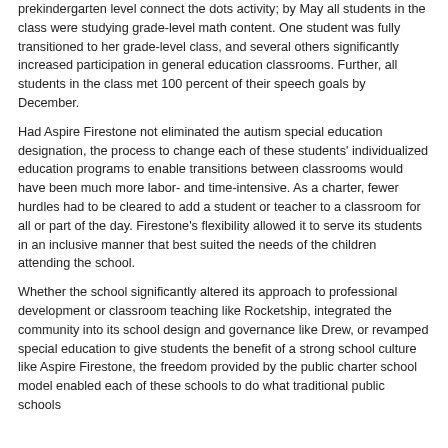prekindergarten level connect the dots activity; by May all students in the class were studying grade-level math content. One student was fully transitioned to her grade-level class, and several others significantly increased participation in general education classrooms. Further, all students in the class met 100 percent of their speech goals by December.
Had Aspire Firestone not eliminated the autism special education designation, the process to change each of these students' individualized education programs to enable transitions between classrooms would have been much more labor- and time-intensive. As a charter, fewer hurdles had to be cleared to add a student or teacher to a classroom for all or part of the day. Firestone's flexibility allowed it to serve its students in an inclusive manner that best suited the needs of the children attending the school.
Whether the school significantly altered its approach to professional development or classroom teaching like Rocketship, integrated the community into its school design and governance like Drew, or revamped special education to give students the benefit of a strong school culture like Aspire Firestone, the freedom provided by the public charter school model enabled each of these schools to do what traditional public schools...